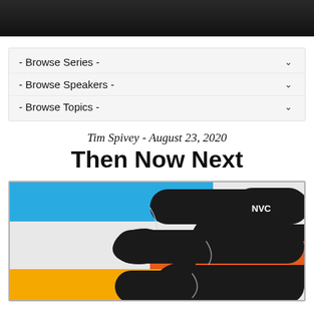- Browse Series -
- Browse Speakers -
- Browse Topics -
Tim Spivey - August 23, 2020
Then Now Next
[Figure (illustration): Graphic artwork for 'Then Now Next' sermon series featuring stylized S-shaped black ribbon shapes interlaced with horizontal bands of blue, orange, and yellow/gold colors on a light gray background. NVC logo visible in upper right area.]